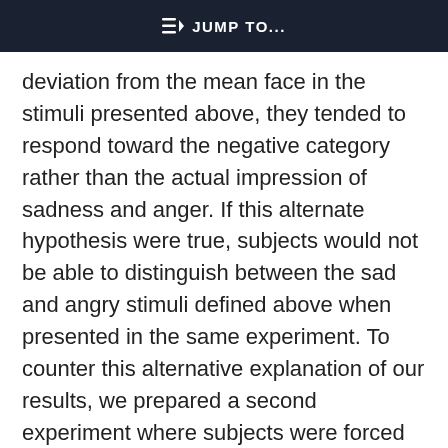JUMP TO...
deviation from the mean face in the stimuli presented above, they tended to respond toward the negative category rather than the actual impression of sadness and anger. If this alternate hypothesis were true, subjects would not be able to distinguish between the sad and angry stimuli defined above when presented in the same experiment. To counter this alternative explanation of our results, we prepared a second experiment where subjects were forced to make decisions of sadness versus anger.
This site uses cookies. By continuing to use our website, you are agreeing to our privacy policy. Accept
The same stimuli defined in Experiment 1 were used in this second experiment. However, the images